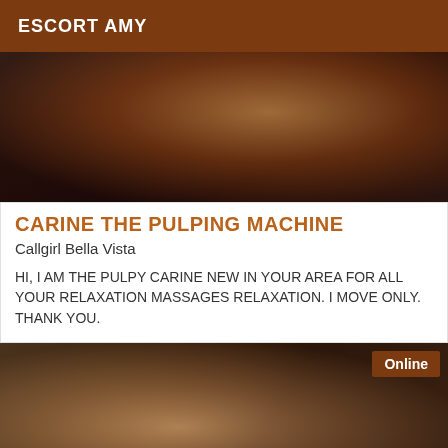ESCORT AMY
[Figure (photo): Close-up photo showing a hand or body part with warm brown tones against a wooden surface background]
CARINE THE PULPING MACHINE
Callgirl Bella Vista
HI, I AM THE PULPY CARINE NEW IN YOUR AREA FOR ALL YOUR RELAXATION MASSAGES RELAXATION. I MOVE ONLY. THANK YOU.
[Figure (photo): Photo of a person with blonde hair holding what appears to be a metal object, with an 'Online' badge overlay in the top right corner]